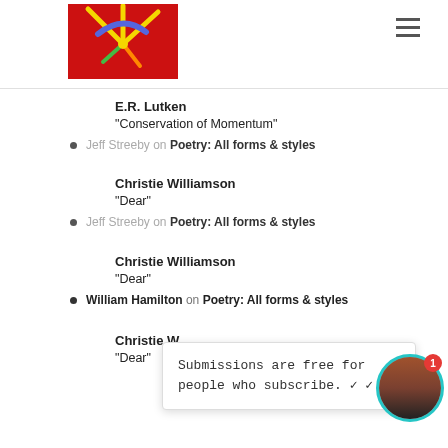[Figure (logo): Red background logo with colorful starburst/hand illustration]
E.R. Lutken
“Conservation of Momentum”
Jeff Streeby on Poetry: All forms & styles
Christie Williamson
“Dear”
Jeff Streeby on Poetry: All forms & styles
Christie Williamson
“Dear”
William Hamilton on Poetry: All forms & styles
Christie W
“Dear”
Submissions are free for people who subscribe. ✓ ✓ ✓